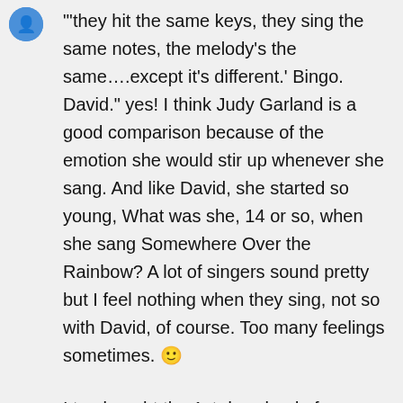‘‘they hit the same keys, they sing the same notes, the melody’s the same….except it’s different.’ Bingo. David.” yes! I think Judy Garland is a good comparison because of the emotion she would stir up whenever she sang. And like David, she started so young, What was she, 14 or so, when she sang Somewhere Over the Rainbow? A lot of singers sound pretty but I feel nothing when they sing, not so with David, of course. Too many feelings sometimes. 🙂
I too bought the 1st download of DYHWIH, didn’t know about the iTunes version. Does not reflect well on the people from that